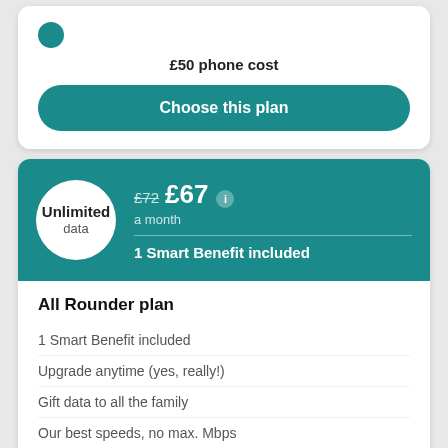£50 phone cost
Choose this plan
£72 £67 a month
Unlimited data
1 Smart Benefit included
All Rounder plan
1 Smart Benefit included
Upgrade anytime (yes, really!)
Gift data to all the family
Our best speeds, no max. Mbps